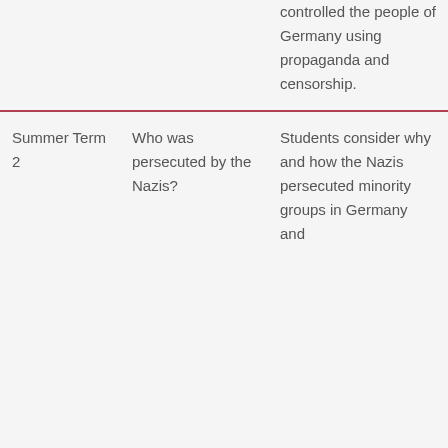|  |  | controlled the people of Germany using propaganda and censorship. |
| Summer Term 2 | Who was persecuted by the Nazis? | Students consider why and how the Nazis persecuted minority groups in Germany and |